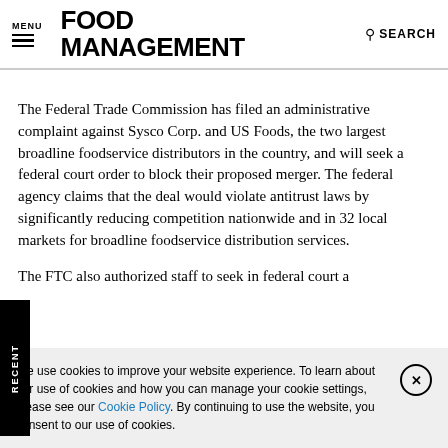MENU | FOOD MANAGEMENT | SEARCH
The Federal Trade Commission has filed an administrative complaint against Sysco Corp. and US Foods, the two largest broadline foodservice distributors in the country, and will seek a federal court order to block their proposed merger. The federal agency claims that the deal would violate antitrust laws by significantly reducing competition nationwide and in 32 local markets for broadline foodservice distribution services.

The FTC also authorized staff to seek in federal court a
We use cookies to improve your website experience. To learn about our use of cookies and how you can manage your cookie settings, please see our Cookie Policy. By continuing to use the website, you consent to our use of cookies.